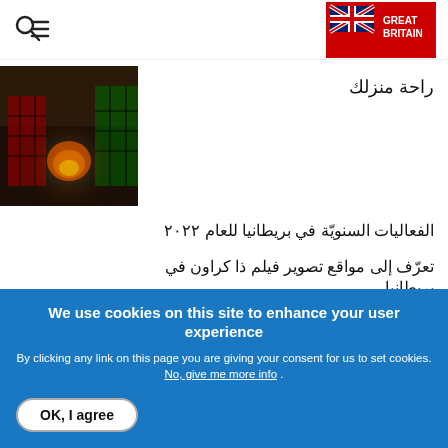[Figure (logo): Search and menu icon (magnifying glass and horizontal lines)]
[Figure (logo): Great Britain tourism logo with Union Jack flag, red background, white text GREAT BRITAIN]
[Figure (photo): Photo of people in tartan/plaid clothing near a fireplace, warm interior scene]
راحة منزلك
الفعاليات السنويّة في بريطانيا للعام ٢٠٢٢
تعرّف إلى مواقع تصوير فيلم ذا كراون في بريطانيا
أهم 10 تجارب ومعالم سياحية في باث
١٢ نشاطاً يجلم القيام به في لندن خلال عطلة
We use cookies on this site to enhance your user experience
By clicking any link on this page you are giving your consent for us to set cookies. No, give me more info
OK, I agree